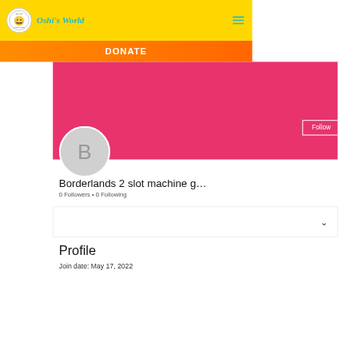Oshi's World
DONATE
[Figure (screenshot): Pink profile cover banner with Follow button and three-dot menu]
Borderlands 2 slot machine g...
0 Followers • 0 Following
Profile
Join date: May 17, 2022